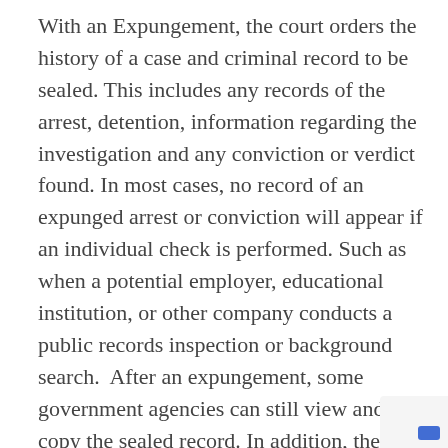With an Expungement, the court orders the history of a case and criminal record to be sealed. This includes any records of the arrest, detention, information regarding the investigation and any conviction or verdict found. In most cases, no record of an expunged arrest or conviction will appear if an individual check is performed. Such as when a potential employer, educational institution, or other company conducts a public records inspection or background search.  After an expungement, some government agencies can still view and copy the sealed record. In addition, the FBI could also have records of a case even if it was expunged by the state.